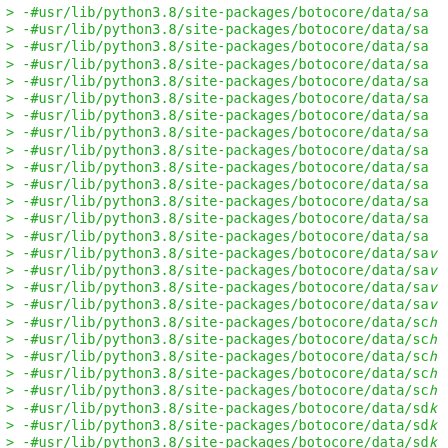> -#usr/lib/python3.8/site-packages/botocore/data/sa...
> -#usr/lib/python3.8/site-packages/botocore/data/sa...
> -#usr/lib/python3.8/site-packages/botocore/data/sa...
> -#usr/lib/python3.8/site-packages/botocore/data/sa...
> -#usr/lib/python3.8/site-packages/botocore/data/sa...
> -#usr/lib/python3.8/site-packages/botocore/data/sa...
> -#usr/lib/python3.8/site-packages/botocore/data/sa...
> -#usr/lib/python3.8/site-packages/botocore/data/sa...
> -#usr/lib/python3.8/site-packages/botocore/data/sa...
> -#usr/lib/python3.8/site-packages/botocore/data/sa...
> -#usr/lib/python3.8/site-packages/botocore/data/sa...
> -#usr/lib/python3.8/site-packages/botocore/data/sa...
> -#usr/lib/python3.8/site-packages/botocore/data/sa...
> -#usr/lib/python3.8/site-packages/botocore/data/sa...
> -#usr/lib/python3.8/site-packages/botocore/data/sa...
> -#usr/lib/python3.8/site-packages/botocore/data/sa...
> -#usr/lib/python3.8/site-packages/botocore/data/sa...
> -#usr/lib/python3.8/site-packages/botocore/data/sa...
> -#usr/lib/python3.8/site-packages/botocore/data/sc...
> -#usr/lib/python3.8/site-packages/botocore/data/sc...
> -#usr/lib/python3.8/site-packages/botocore/data/sc...
> -#usr/lib/python3.8/site-packages/botocore/data/sc...
> -#usr/lib/python3.8/site-packages/botocore/data/sc...
> -#usr/lib/python3.8/site-packages/botocore/data/sdl...
> -#usr/lib/python3.8/site-packages/botocore/data/sdl...
> -#usr/lib/python3.8/site-packages/botocore/data/sdl...
> -#usr/lib/python3.8/site-packages/botocore/data/sdl...
> -#usr/lib/python3.8/site-packages/botocore/data/se...
> -#usr/lib/python3.8/site-packages/botocore/data/se...
> -#usr/lib/python3.8/site-packages/botocore/data/se...
> -#usr/lib/python3.8/site-packages/botocore/data/se...
> -#usr/lib/python3.8/site-packages/botocore/data/se...